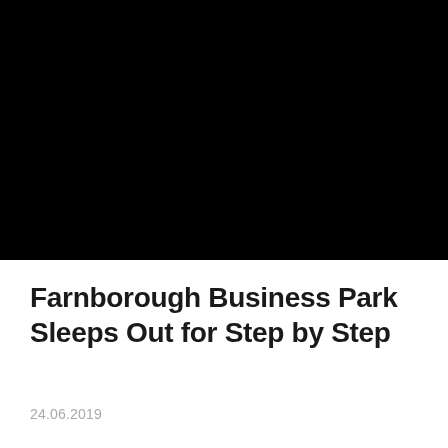[Figure (photo): Large black photograph occupying the top portion of the page]
Farnborough Business Park Sleeps Out for Step by Step
24.06.2019